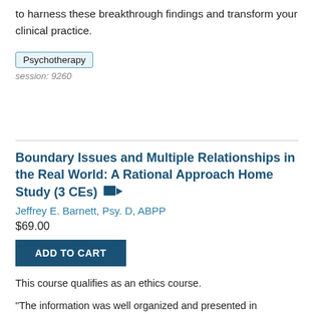to harness these breakthrough findings and transform your clinical practice.
Psychotherapy
session: 9260
Boundary Issues and Multiple Relationships in the Real World: A Rational Approach Home Study (3 CEs)
Jeffrey E. Barnett, Psy. D, ABPP
$69.00
ADD TO CART
This course qualifies as an ethics course.
“The information was well organized and presented in